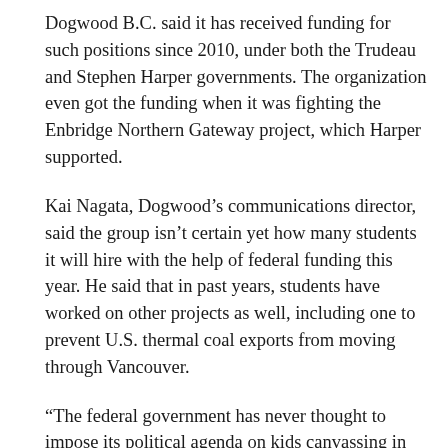Dogwood B.C. said it has received funding for such positions since 2010, under both the Trudeau and Stephen Harper governments. The organization even got the funding when it was fighting the Enbridge Northern Gateway project, which Harper supported.
Kai Nagata, Dogwood's communications director, said the group isn't certain yet how many students it will hire with the help of federal funding this year. He said that in past years, students have worked on other projects as well, including one to prevent U.S. thermal coal exports from moving through Vancouver.
“The federal government has never thought to impose its political agenda on kids canvassing in B.C. on environmental issues,” said Nagata, who previously worked as a reporter for both CBC and CTV. (Source: CBC)